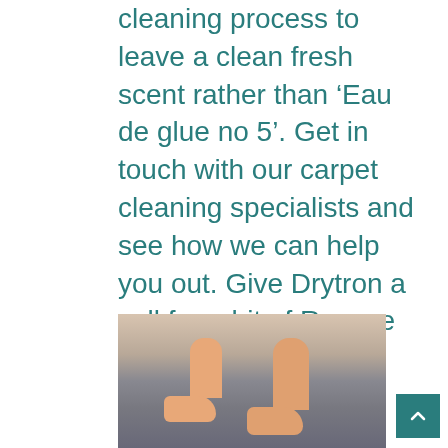cleaning process to leave a clean fresh scent rather than ‘Eau de glue no 5’. Get in touch with our carpet cleaning specialists and see how we can help you out. Give Drytron a call for a bit of Rescue 101 on 13 12 50.
[Figure (photo): Photo of two pairs of bare feet (child and adult) standing on a grey carpet, viewed from floor level]